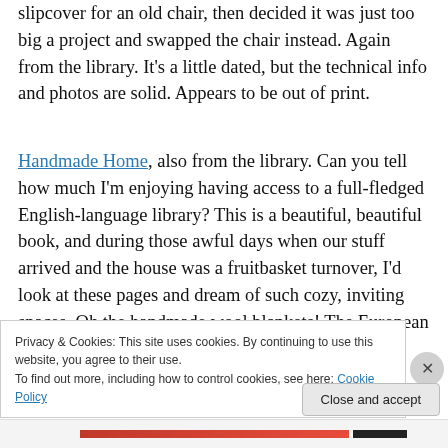slipcover for an old chair, then decided it was just too big a project and swapped the chair instead. Again from the library. It's a little dated, but the technical info and photos are solid. Appears to be out of print.
Handmade Home, also from the library. Can you tell how much I'm enjoying having access to a full-fledged English-language library? This is a beautiful, beautiful book, and during those awful days when our stuff arrived and the house was a fruitbasket turnover, I'd look at these pages and dream of such cozy, inviting spaces. Oh the handmade wool blankets! The European cottages! The
Privacy & Cookies: This site uses cookies. By continuing to use this website, you agree to their use.
To find out more, including how to control cookies, see here: Cookie Policy
Close and accept